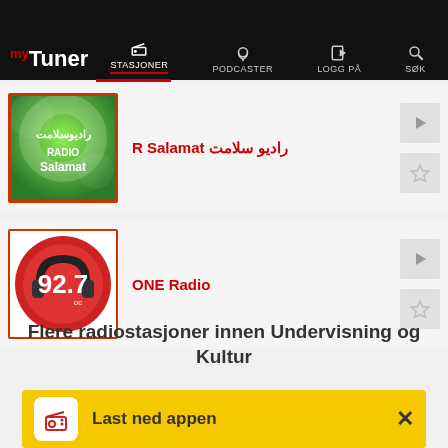myTuner — STASJONER | PODCASTER | LOGG PÅ | SØK
[Figure (screenshot): Radio station listing card: R Salamat رادیو سلامت with green logo, play and star buttons]
[Figure (screenshot): Radio station listing card: ONE Radio with red circular 92.7 logo, play and star buttons]
Flere radiostasjoner innen Undervisning og Kultur
Last ned appen